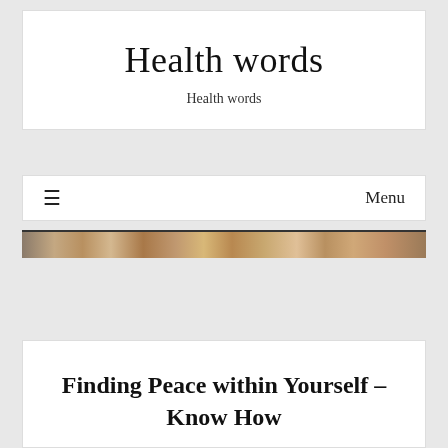Health words
Health words
≡   Menu
[Figure (photo): A decorative banner strip showing a collage of health-related images in warm earth tones.]
Finding Peace within Yourself – Know How